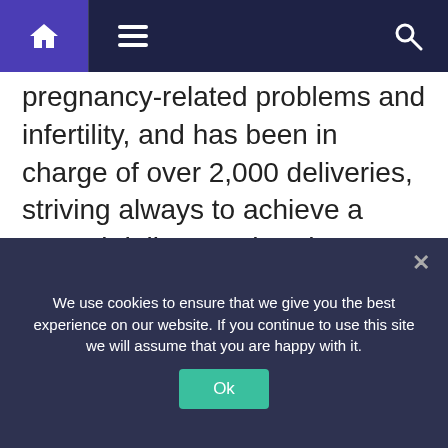[Navigation bar with home, menu, and search icons]
pregnancy-related problems and infertility, and has been in charge of over 2,000 deliveries, striving always to achieve a normal delivery rather than operative.
Source: Read Full Article
Related posts:
We use cookies to ensure that we give you the best experience on our website. If you continue to use this site we will assume that you are happy with it.